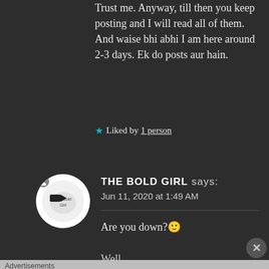Trust me. Anyway, till then you keep posting and I will read all of them. And waise bhi abhi I am here around 2-3 days. Ek do posts aur hain.
★ Liked by 1 person
THE BOLD GIRL says: Jun 11, 2020 at 1:49 AM
Are you down?🙂
Well...
Advertisements
[Figure (screenshot): Day One journaling app advertisement banner with cyan background, icons for journal/person/list, text 'The only journaling app you'll ever need.']